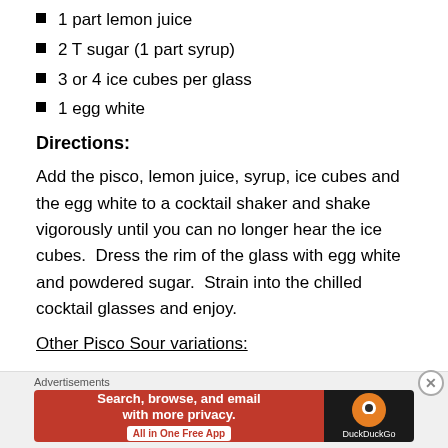1 part lemon juice
2 T sugar (1 part syrup)
3 or 4 ice cubes per glass
1 egg white
Directions:
Add the pisco, lemon juice, syrup, ice cubes and the egg white to a cocktail shaker and shake vigorously until you can no longer hear the ice cubes.  Dress the rim of the glass with egg white and powdered sugar.  Strain into the chilled cocktail glasses and enjoy.
Other Pisco Sour variations:
Advertisements